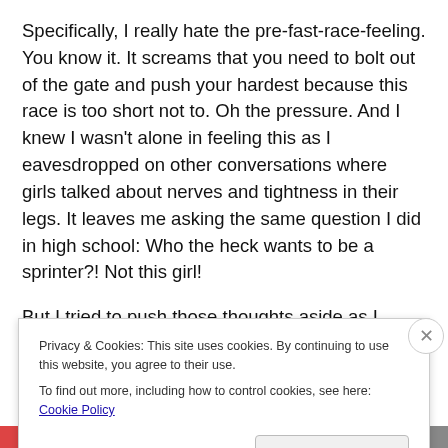Specifically, I really hate the pre-fast-race-feeling. You know it. It screams that you need to bolt out of the gate and push your hardest because this race is too short not to. Oh the pressure. And I knew I wasn't alone in feeling this as I eavesdropped on other conversations where girls talked about nerves and tightness in their legs. It leaves me asking the same question I did in high school: Who the heck wants to be a sprinter?! Not this girl!
But I tried to push those thoughts aside as I readied myself for the race ahead of me. And then it was go time
Privacy & Cookies: This site uses cookies. By continuing to use this website, you agree to their use.
To find out more, including how to control cookies, see here: Cookie Policy